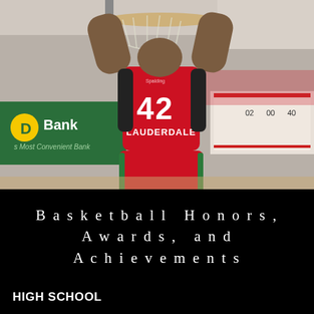[Figure (photo): Basketball player wearing red jersey number 42 with 'LAUDERDALE' on the back, dunking a basketball, viewed from behind. TD Bank advertisement visible in the background of an indoor basketball arena.]
Basketball Honors, Awards, and Achievements
HIGH SCHOOL